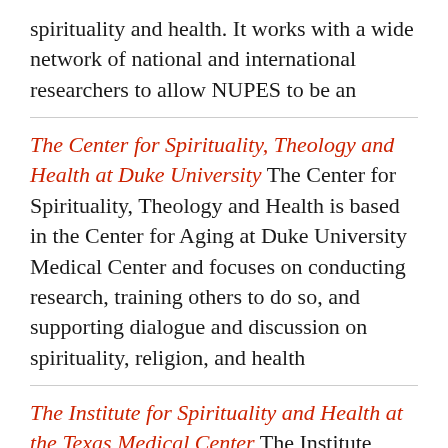spirituality and health. It works with a wide network of national and international researchers to allow NUPES to be an
The Center for Spirituality, Theology and Health at Duke University The Center for Spirituality, Theology and Health is based in the Center for Aging at Duke University Medical Center and focuses on conducting research, training others to do so, and supporting dialogue and discussion on spirituality, religion, and health
The Institute for Spirituality and Health at the Texas Medical Center The Institute seeks to increase awareness of the role that spirituality plays in healing, in coping with chronic illness and in maintaining optimal health. Its website provides